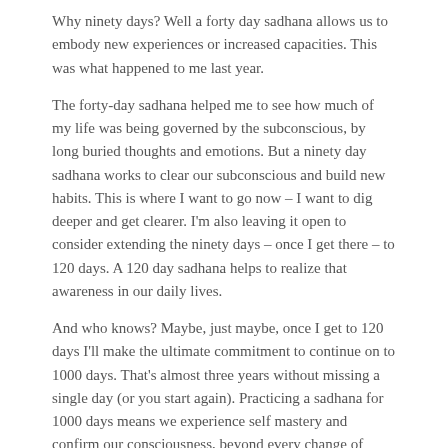Why ninety days? Well a forty day sadhana allows us to embody new experiences or increased capacities. This was what happened to me last year.
The forty-day sadhana helped me to see how much of my life was being governed by the subconscious, by long buried thoughts and emotions. But a ninety day sadhana works to clear our subconscious and build new habits. This is where I want to go now – I want to dig deeper and get clearer. I'm also leaving it open to consider extending the ninety days – once I get there – to 120 days. A 120 day sadhana helps to realize that awareness in our daily lives.
And who knows? Maybe, just maybe, once I get to 120 days I'll make the ultimate commitment to continue on to 1000 days. That's almost three years without missing a single day (or you start again). Practicing a sadhana for 1000 days means we experience self mastery and confirm our consciousness, beyond every change of time, space and circumstance.
Powerful stuff indeed – and available to each and every one of us who dares set aside just 11 minutes a day to work on our selves.
11 minutes!